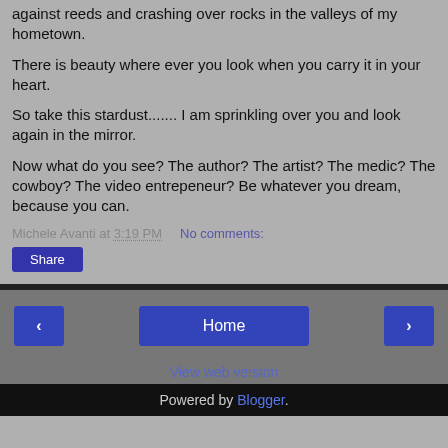against reeds and crashing over rocks in the valleys of my hometown.
There is beauty where ever you look when you carry it in your heart.
So take this stardust....... I am sprinkling over you and look again in the mirror.
Now what do you see? The author? The artist? The medic? The cowboy? The video entrepeneur? Be whatever you dream, because you can.
Michele Avanti at 3:19 PM   No comments:
Share
Powered by Blogger.